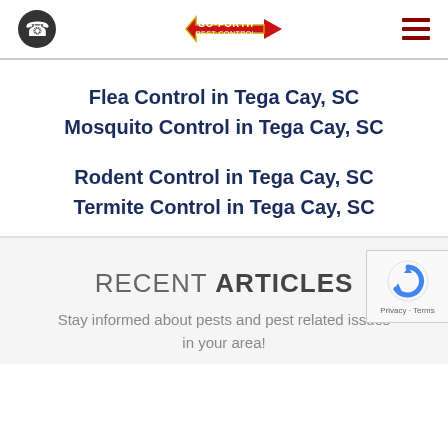Go-Forth Pest Control logo with phone icon and hamburger menu
Flea Control in Tega Cay, SC
Mosquito Control in Tega Cay, SC
Rodent Control in Tega Cay, SC
Termite Control in Tega Cay, SC
RECENT ARTICLES
Stay informed about pests and pest related issues in your area!